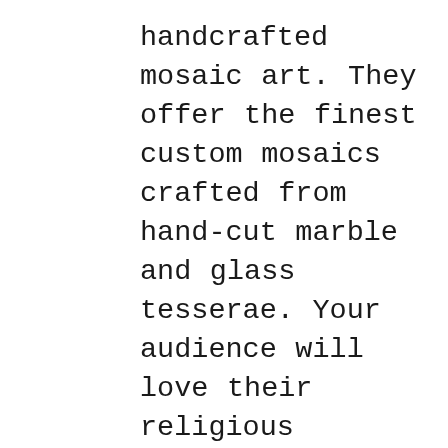handcrafted mosaic art. They offer the finest custom mosaics crafted from hand-cut marble and glass tesserae. Your audience will love their religious offering such as reproductions of Michelangelo's Creation of Man.
Join their affiliate program and earn a 15% commission on every mosaic artwork sold through your affiliate link.